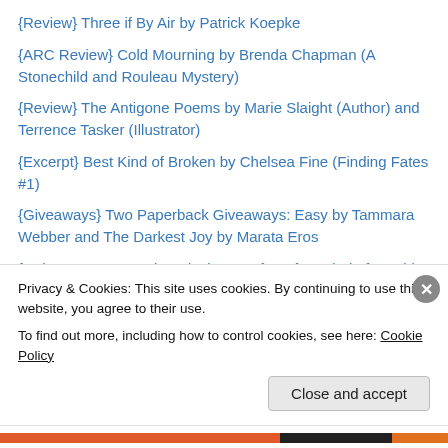{Review} Three if By Air by Patrick Koepke
{ARC Review} Cold Mourning by Brenda Chapman (A Stonechild and Rouleau Mystery)
{Review} The Antigone Poems by Marie Slaight (Author) and Terrence Tasker (Illustrator)
{Excerpt} Best Kind of Broken by Chelsea Fine (Finding Fates #1)
{Giveaways} Two Paperback Giveaways: Easy by Tammara Webber and The Darkest Joy by Marata Eros
{Release Day Launch and Giveaway} Perfect Kind of Trouble by Chelsea Fine (Finding Fates #2)
Nominated in 2015 for BEST BLOG OF THE YEAR, and
Privacy & Cookies: This site uses cookies. By continuing to use this website, you agree to their use.
To find out more, including how to control cookies, see here: Cookie Policy
Close and accept